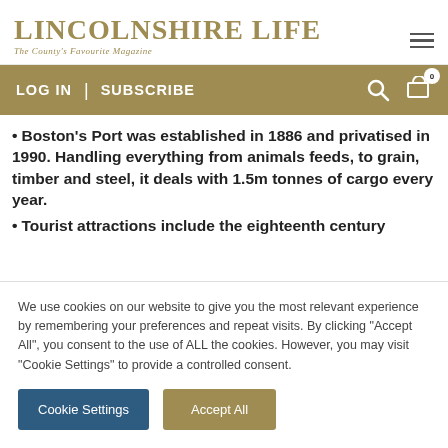LINCOLNSHIRE LIFE — The County's Favourite Magazine
LOG IN | SUBSCRIBE
Boston's Port was established in 1886 and privatised in 1990. Handling everything from animals feeds, to grain, timber and steel, it deals with 1.5m tonnes of cargo every year.
Tourist attractions include the eighteenth century
We use cookies on our website to give you the most relevant experience by remembering your preferences and repeat visits. By clicking "Accept All", you consent to the use of ALL the cookies. However, you may visit "Cookie Settings" to provide a controlled consent.